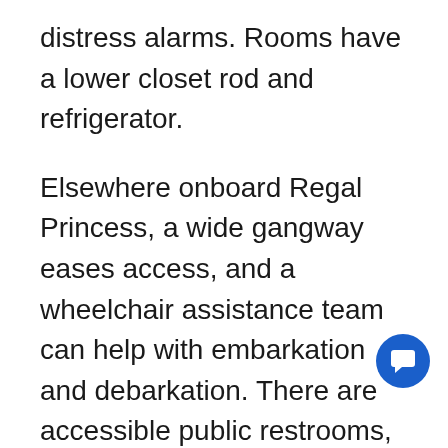distress alarms. Rooms have a lower closet rod and refrigerator.
Elsewhere onboard Regal Princess, a wide gangway eases access, and a wheelchair assistance team can help with embarkation and debarkation. There are accessible public restrooms, and a sign-language interpreter can be provided with request several months before sailing. All dining and bar venues have wheelchair seating, as does the main theater which has an assistive listening system.
ADA kits are available featuring telephone